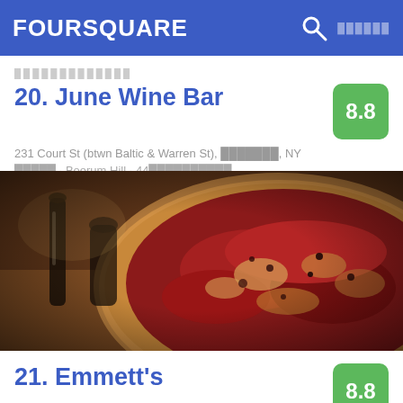FOURSQUARE
20. June Wine Bar
8.8
231 Court St (btwn Baltic & Warren St), ███████, NY
█████ · Boerum Hill · 44██████████
[Figure (photo): Close-up photo of a deep-dish pizza with red tomato sauce and melted cheese in a cast iron pan, warm amber tones]
21. Emmett's
8.8
50 Macdougal St (btwn Prince St and Houston St), ████████, NY
█████ · SoHo · 116██████████